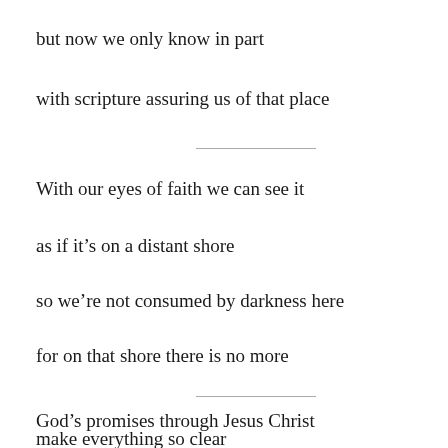but now we only know in part
with scripture assuring us of that place
With our eyes of faith we can see it
as if it's on a distant shore
so we're not consumed by darkness here
for on that shore there is no more
God's promises through Jesus Christ
make everything so clear